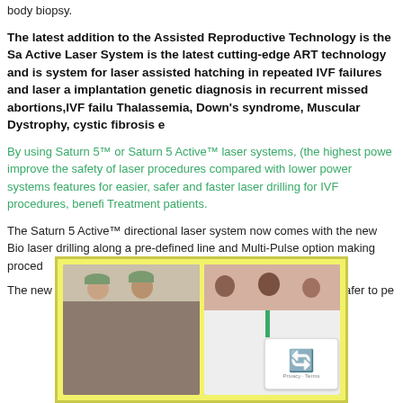body biopsy.
The latest addition to the Assisted Reproductive Technology is the Sa Active Laser System is the latest cutting-edge ART technology and is system for laser assisted hatching in repeated IVF failures and laser a implantation genetic diagnosis in recurrent missed abortions,IVF failu Thalassemia, Down's syndrome, Muscular Dystrophy, cystic fibrosis e
By using Saturn 5™ or Saturn 5 Active™ laser systems, (the highest powe improve the safety of laser procedures compared with lower power systems features for easier, safer and faster laser drilling for IVF procedures, benefi Treatment patients.
The Saturn 5 Active™ directional laser system now comes with the new Bio laser drilling along a pre-defined line and Multi-Pulse option making proced
The new laser system makes the procedure quicker, easier and safer to pe
[Figure (photo): Two photos side by side in a yellow-bordered frame. Left photo shows two medical staff in scrubs and surgical caps smiling. Right photo shows three doctors/medical professionals in white coats smiling. A reCAPTCHA badge is visible in the bottom right corner.]